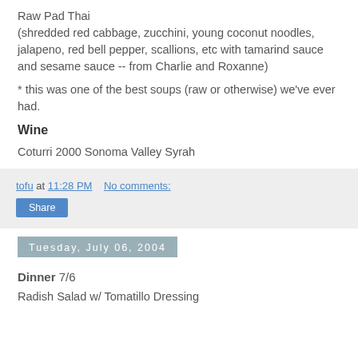Raw Pad Thai
(shredded red cabbage, zucchini, young coconut noodles, jalapeno, red bell pepper, scallions, etc with tamarind sauce and sesame sauce -- from Charlie and Roxanne)
* this was one of the best soups (raw or otherwise) we've ever had.
Wine
Coturri 2000 Sonoma Valley Syrah
tofu at 11:28 PM   No comments:
Share
Tuesday, July 06, 2004
Dinner 7/6
Radish Salad w/ Tomatillo Dressing